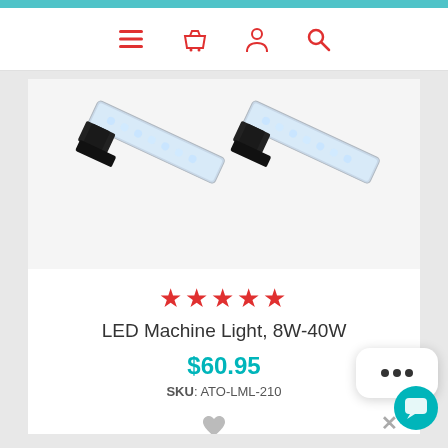[Figure (screenshot): E-commerce product page screenshot showing LED Machine Light product with navigation bar, product image, star rating, price, SKU, and add to cart button]
[Figure (photo): Two LED Machine Lights with chrome bar housings and black mounting brackets]
★★★★★
LED Machine Light, 8W-40W
$60.95
SKU: ATO-LML-210
ADD TO CART